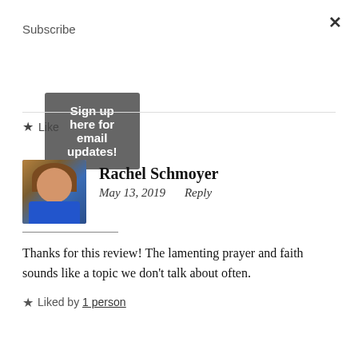×
Subscribe
Sign up here for email updates!
★ Like
Rachel Schmoyer
May 13, 2019   Reply
Thanks for this review! The lamenting prayer and faith sounds like a topic we don't talk about often.
★ Liked by 1 person